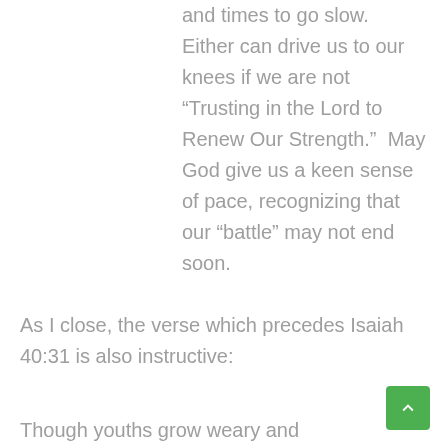and times to go slow.  Either can drive us to our knees if we are not “Trusting in the Lord to Renew Our Strength.”  May God give us a keen sense of pace, recognizing that our “battle” may not end soon.
As I close, the verse which precedes Isaiah 40:31 is also instructive:
Though youths grow weary and